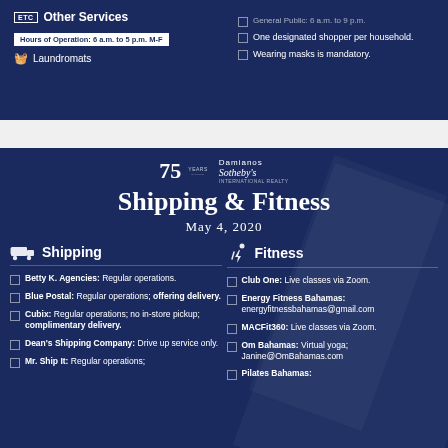[Figure (logo): ETC Other Services logo with Hours of Operation box]
Hours of Operation: 6 a.m. to 5 p.m. M-F
Laundromats
General Public: 6 a.m. to 9 p.m.
One designated shopper per household.
Wearing masks is mandatory.
[Figure (logo): 75 Years Damianos Sotheby's International Realty logo]
Shipping & Fitness
May 4, 2020
Shipping
Betty K. Agencies: Regular operations.
Blue Postal: Regular operations; offering delivery.
Cubix: Regular operations; no in-store pickup; complimentary delivery.
Dean's Shipping Company: Drive up service only.
Mr. Ship It: Regular operations;
Fitness
Club One: Live classes via Zoom.
Energy Fitness Bahamas: energyfitnessbahamas@gmail.com
MACFit360: Live classes via Zoom.
Om Bahamas: Virtual yoga; Janine@OmBahamas.com
Pilates Bahamas: